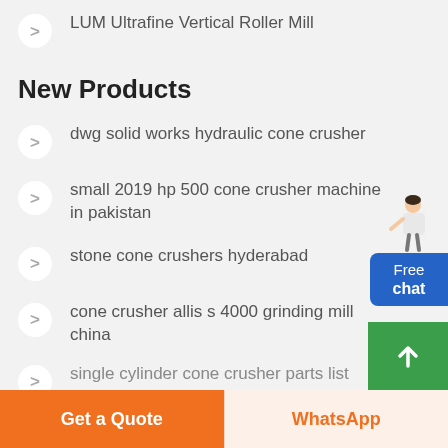LUM Ultrafine Vertical Roller Mill
New Products
dwg solid works hydraulic cone crusher
small 2019 hp 500 cone crusher machine in pakistan
stone cone crushers hyderabad
cone crusher allis s 4000 grinding mill china
single cylinder cone crusher parts list
[Figure (illustration): Free chat widget with a female figure and a blue box labeled Free chat]
[Figure (illustration): Green scroll-to-top button with upward arrow]
Get a Quote
WhatsApp